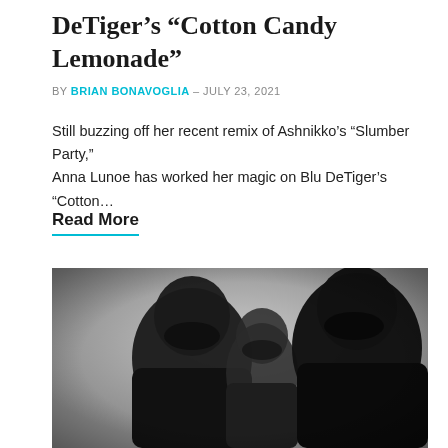DeTiger's “Cotton Candy Lemonade”
BY BRIAN BONAVOGLIA – JULY 23, 2021
Still buzzing off her recent remix of Ashnikko’s “Slumber Party,” Anna Lunoe has worked her magic on Blu DeTiger’s “Cotton…
Read More
[Figure (photo): Black and white photo of three people wearing dark masks and dark clothing, shown from the shoulders up against a grey background.]